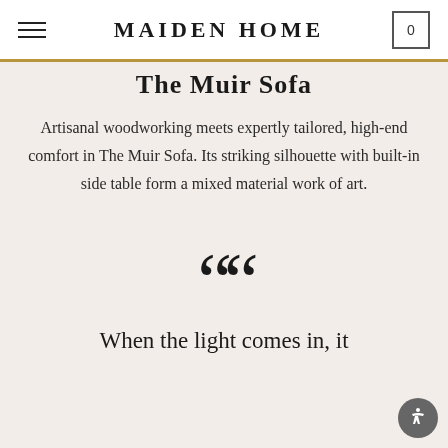MAIDEN HOME
The Muir Sofa
Artisanal woodworking meets expertly tailored, high-end comfort in The Muir Sofa. Its striking silhouette with built-in side table form a mixed material work of art.
““
When the light comes in, it